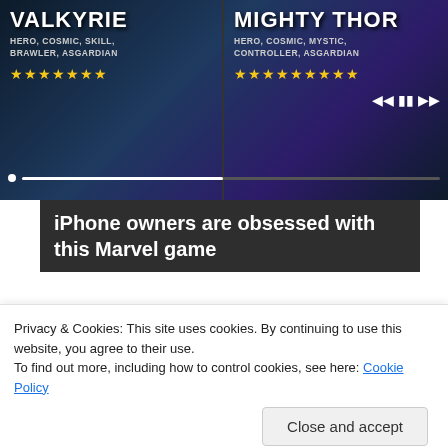[Figure (screenshot): Advertisement banner for a Marvel game showing Valkyrie and Mighty Thor characters with star ratings, hero tags, and media playback controls on dark background]
iPhone owners are obsessed with this Marvel game
[Figure (photo): Two photos side by side: left shows a young woman with brown hair, right shows a Samsung phone displaying a text message thread named Moms Edge with message starting Mom I m]
Privacy & Cookies: This site uses cookies. By continuing to use this website, you agree to their use.
To find out more, including how to control cookies, see here: Cookie Policy
Close and accept